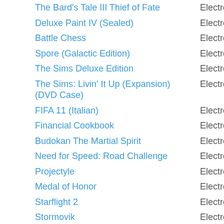The Bard's Tale III Thief of Fate | Electronic Arts
Deluxe Paint IV (Sealed) | Electronic Arts
Battle Chess | Electronic Arts
Spore (Galactic Edition) | Electronic Arts
The Sims Deluxe Edition | Electronic Arts
The Sims: Livin' It Up (Expansion) (DVD Case) | Electronic Arts
FIFA 11 (Italian) | Electronic Arts
Financial Cookbook | Electronic Arts
Budokan The Martial Spirit | Electronic Arts
Need for Speed: Road Challenge | Electronic Arts
Projectyle | Electronic Arts
Medal of Honor | Electronic Arts
Starflight 2 | Electronic Arts
Stormovik | Electronic Arts
Knockout Kings 99 | Electronic Arts